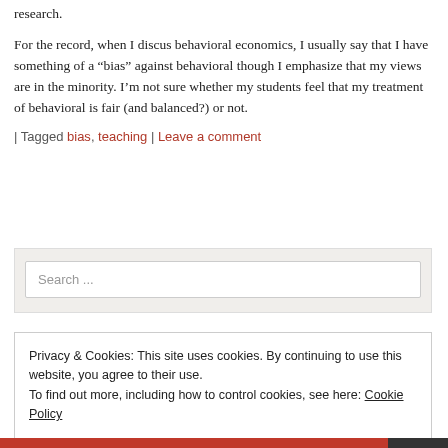research.
For the record, when I discus behavioral economics, I usually say that I have something of a “bias” against behavioral though I emphasize that my views are in the minority. I’m not sure whether my students feel that my treatment of behavioral is fair (and balanced?) or not.
| Tagged bias, teaching | Leave a comment
Search ...
Privacy & Cookies: This site uses cookies. By continuing to use this website, you agree to their use.
To find out more, including how to control cookies, see here: Cookie Policy
Close and accept